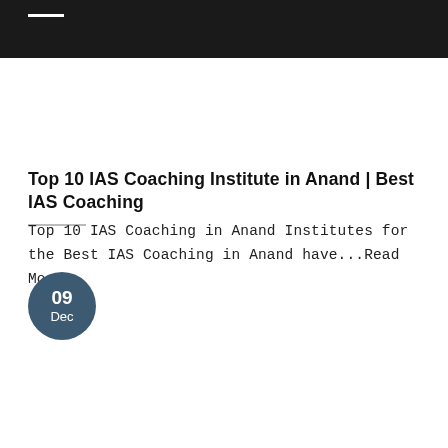Top 10 IAS Coaching Institute in Anand | Best IAS Coaching
Top 10 IAS Coaching in Anand Institutes for the Best IAS Coaching in Anand have...Read More
09 Dec